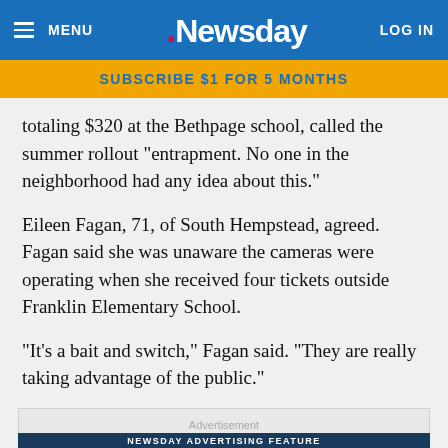MENU | Newsday | LOG IN
SUBSCRIBE $1 FOR 5 MONTHS
totaling $320 at the Bethpage school, called the summer rollout "entrapment. No one in the neighborhood had any idea about this."
Eileen Fagan, 71, of South Hempstead, agreed. Fagan said she was unaware the cameras were operating when she received four tickets outside Franklin Elementary School.
"It's a bait and switch," Fagan said. "They are really taking advantage of the public."
Advertisement
[Figure (other): Newsday Advertising Feature banner ad for LI LAW - Need Legal Advice? Click to View.]